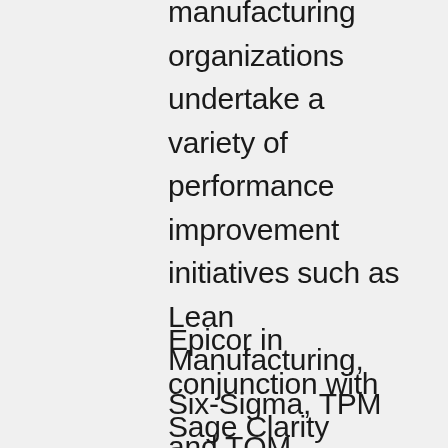manufacturing organizations undertake a variety of performance improvement initiatives such as Lean Manufacturing, Six-Sigma, TPM and TQM. Organizations leverage KPIs, including Overall Equipment Effectiveness (OEE) to manage and measure such initiatives.
Epicor in conjunction with Sage Clarity studied over 100 global manufacturing operations worldwide to